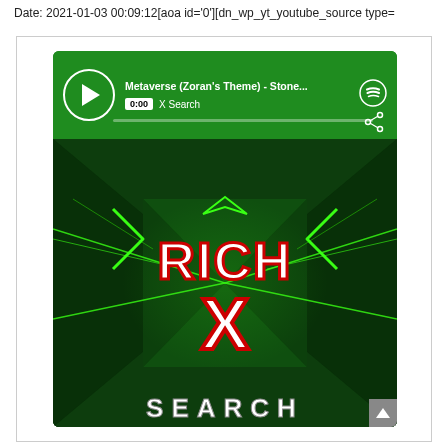Date: 2021-01-03 00:09:12[aoa id='0'][dn_wp_yt_youtube_source type=
[Figure (screenshot): Spotify embedded player showing 'Metaverse (Zoran's Theme) - Stone...' with Rich X Search branding. Green themed player with play button, track title, 0:00 timestamp, progress bar, share icon, Spotify logo, and album artwork featuring 'RICH X SEARCH' logo on a dark green neon tunnel background.]